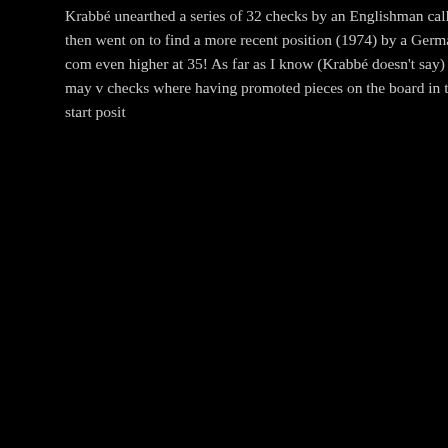Krabbé unearthed a series of 32 checks by an Englishman called A then went on to find a more recent position (1974) by a German com even higher at 35! As far as I know (Krabbé doesn't say) this may v checks where having promoted pieces on the board in the start posit